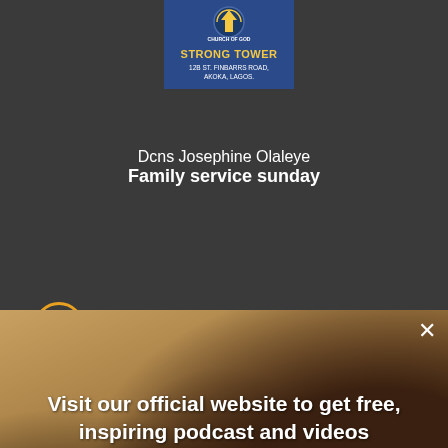[Figure (logo): Strong Tower Church of God logo with blue background, yellow text reading STRONG TOWER, and address 12B ST. FINBARRS ROAD, AKOKA, LAGOS.]
Dcns Josephine Olaleye
Family service sunday
[Figure (photo): Background photo of congregation worshipping with hands raised in a church hall]
Visit our official website to get free, inspiring podcast and videos
Yes please!
No, thanks!
[Figure (logo): AddThis social sharing button with red background and white cross/plus symbol]